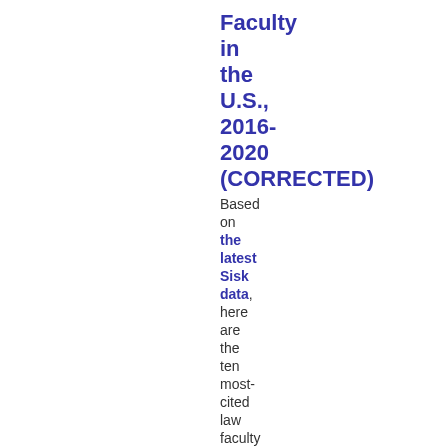Faculty in the U.S., 2016-2020 (CORRECTED)
Based on the latest Sisk data, here are the ten most-cited law faculty working on legislation (understood broadly to include statutory